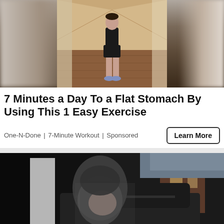[Figure (photo): Person standing in a hallway corridor wearing black shorts and blue sneakers, viewed from the side/back. Blurred background on left and right sides.]
7 Minutes a Day To a Flat Stomach By Using This 1 Easy Exercise
One-N-Done | 7-Minute Workout | Sponsored
[Figure (photo): Blurry/motion-blurred photo of a person in dark hoodie near a vehicle, appears to be security or surveillance camera footage style image.]